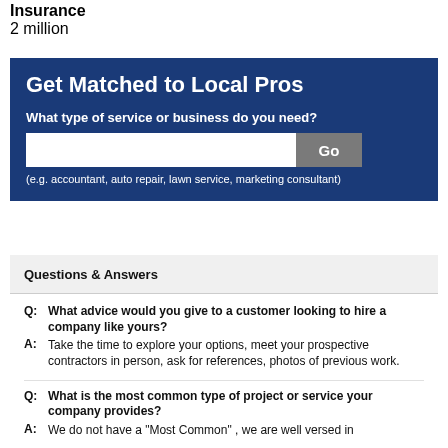Insurance
2 million
[Figure (screenshot): Blue banner with 'Get Matched to Local Pros' heading, a search input field, Go button, and example text]
Questions & Answers
Q: What advice would you give to a customer looking to hire a company like yours?
A: Take the time to explore your options, meet your prospective contractors in person, ask for references, photos of previous work.
Q: What is the most common type of project or service your company provides?
A: We do not have a "Most Common" , we are well versed in